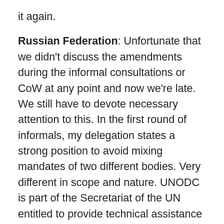it again.
Russian Federation: Unfortunate that we didn't discuss the amendments during the informal consultations or CoW at any point and now we're late. We still have to devote necessary attention to this. In the first round of informals, my delegation states a strong position to avoid mixing mandates of two different bodies. Very different in scope and nature. UNODC is part of the Secretariat of the UN entitled to provide technical assistance to member states, the INCB is of a different nature – it is not technical assistance but a treaty body to assist member states in implementing the conventions. We proposed language to properly reflect different nature and actions